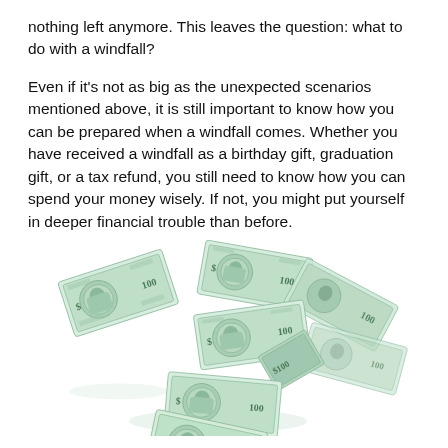nothing left anymore. This leaves the question: what to do with a windfall?
Even if it's not as big as the unexpected scenarios mentioned above, it is still important to know how you can be prepared when a windfall comes. Whether you have received a windfall as a birthday gift, graduation gift, or a tax refund, you still need to know how you can spend your money wisely. If not, you might put yourself in deeper financial trouble than before.
[Figure (illustration): Illustration of multiple $100 US dollar bills flying and swirling in the air against a white background, arranged in a spiral/cascade pattern.]